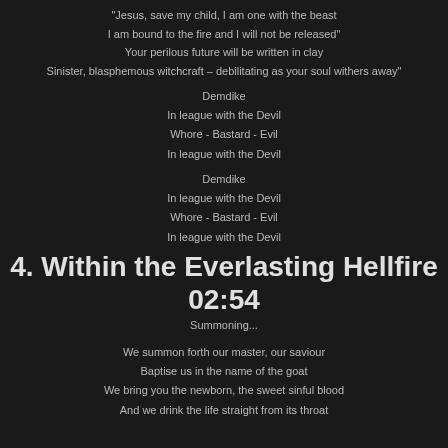“Jesus, save my child, I am one with the beast
I am bound to the fire and I will not be released"
Your perilous future will be written in clay
Sinister, blasphemous witchcraft – debilitating as your soul withers away"
Demdike
In league with the Devil
Whore - Bastard - Evil
In league with the Devil
Demdike
In league with the Devil
Whore - Bastard - Evil
In league with the Devil
4. Within the Everlasting Hellfire 02:54
Summoning...
We summon forth our master, our saviour
Baptise us in the name of the goat
We bring you the newborn, the sweet sinful blood
And we drink the life straight from its throat